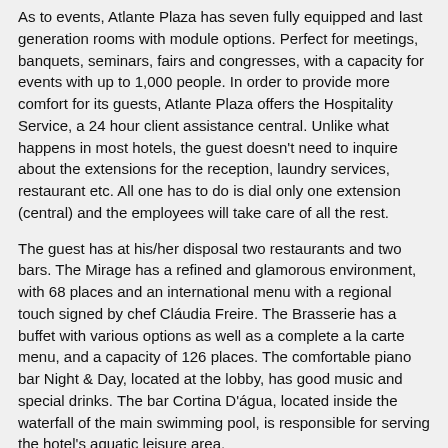As to events, Atlante Plaza has seven fully equipped and last generation rooms with module options. Perfect for meetings, banquets, seminars, fairs and congresses, with a capacity for events with up to 1,000 people. In order to provide more comfort for its guests, Atlante Plaza offers the Hospitality Service, a 24 hour client assistance central. Unlike what happens in most hotels, the guest doesn't need to inquire about the extensions for the reception, laundry services, restaurant etc. All one has to do is dial only one extension (central) and the employees will take care of all the rest.
The guest has at his/her disposal two restaurants and two bars. The Mirage has a refined and glamorous environment, with 68 places and an international menu with a regional touch signed by chef Cláudia Freire. The Brasserie has a buffet with various options as well as a complete a la carte menu, and a capacity of 126 places. The comfortable piano bar Night & Day, located at the lobby, has good music and special drinks. The bar Cortina D'água, located inside the waterfall of the main swimming pool, is responsible for serving the hotel's aquatic leisure area.
Also at the lobby, the guest will find a travel agency, a flower shop, a convenience store, jewelry store, a reading room and a business center equipped with computer, internet, TV, vcr, fax and a space for small meetings. Apart from that, all social areas of the hotel have wireless internet access, Wi-Fi, available for those who have laptops with wireless internet access. This was a pioneer initiative in the Northeast.
Other available options are a warm water swimming pool, a new